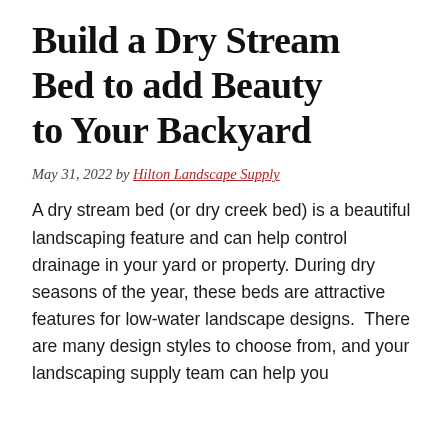Build a Dry Stream Bed to add Beauty to Your Backyard
May 31, 2022 by Hilton Landscape Supply
A dry stream bed (or dry creek bed) is a beautiful landscaping feature and can help control drainage in your yard or property. During dry seasons of the year, these beds are attractive features for low-water landscape designs.  There are many design styles to choose from, and your landscaping supply team can help you